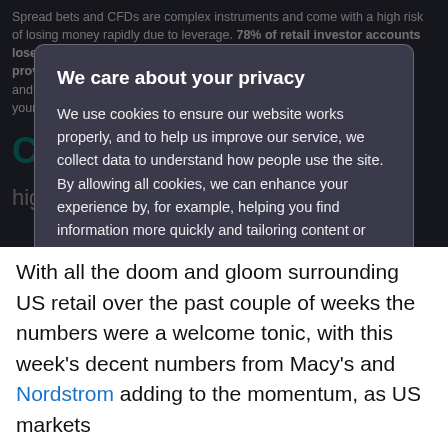Spread bets and CFDs are complex instruments and come with a high risk of losing money rapidly due to leverage. 78% of retail investor accounts lose money when spread betting and/or trading CFDs with this provider. You should consider whether you understand how spread bets and CFDs work and whether you can afford to take the high risk of losing your money.
We care about your privacy
We use cookies to ensure our website works properly, and to help us improve our service, we collect data to understand how people use the site. By allowing all cookies, we can enhance your experience by, for example, helping you find information more quickly and tailoring content or marketing to your preferences. Select “Allow all cookies” to agree or “Manage preferences” to manage cookie settings. You can find out more by viewing our Cookie policy.
MANAGE PREFERENCES
ALLOW ALL COOKIES
With all the doom and gloom surrounding US retail over the past couple of weeks the numbers were a welcome tonic, with this week’s decent numbers from Macy’s and Nordstrom adding to the momentum, as US markets